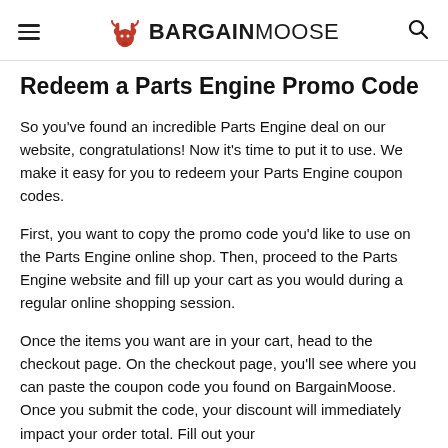BARGAINMOOSE
Redeem a Parts Engine Promo Code
So you've found an incredible Parts Engine deal on our website, congratulations! Now it's time to put it to use. We make it easy for you to redeem your Parts Engine coupon codes.
First, you want to copy the promo code you'd like to use on the Parts Engine online shop. Then, proceed to the Parts Engine website and fill up your cart as you would during a regular online shopping session.
Once the items you want are in your cart, head to the checkout page. On the checkout page, you'll see where you can paste the coupon code you found on BargainMoose. Once you submit the code, your discount will immediately impact your order total. Fill out your